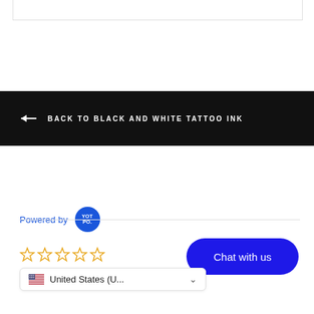[Figure (screenshot): Top border box area at top of page]
← BACK TO BLACK AND WHITE TATTOO INK
[Figure (logo): Powered by YOTPO badge with blue circular logo]
[Figure (other): Five empty star rating icons in gold/orange outline]
[Figure (other): Chat with us blue rounded button]
[Figure (other): Country selector showing US flag and United States (U...]